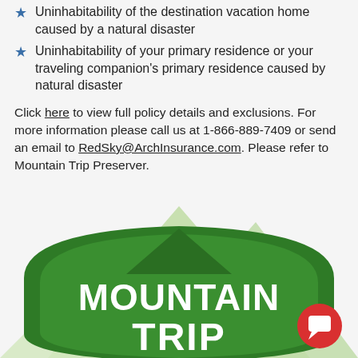Uninhabitability of the destination vacation home caused by a natural disaster
Uninhabitability of your primary residence or your traveling companion's primary residence caused by natural disaster
Click here to view full policy details and exclusions. For more information please call us at 1-866-889-7409 or send an email to RedSky@ArchInsurance.com. Please refer to Mountain Trip Preserver.
[Figure (logo): Mountain Trip logo — green shield/mountain badge with white bold text 'MOUNTAIN TRIP' visible, with a red chat bubble icon overlay in the bottom right]